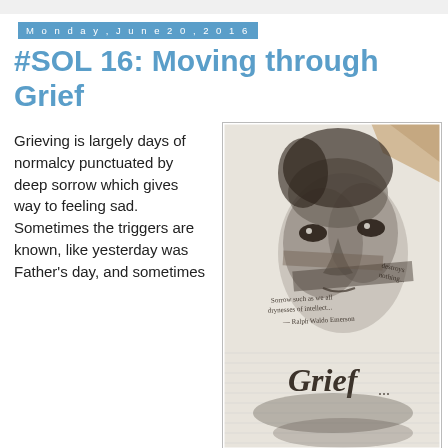Monday, June 20, 2016
#SOL 16: Moving through Grief
Grieving is largely days of normalcy punctuated by deep sorrow which gives way to feeling sad. Sometimes the triggers are known, like yesterday was Father's day, and sometimes...
[Figure (illustration): Charcoal and mixed media artwork of a human face with handwritten text overlay including the word 'Grief' and a quote about sorrow attributed to Ralph Waldo Emerson]